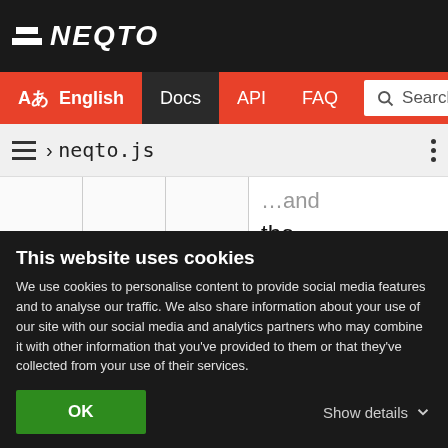NEQTO
Aあ English Docs API FAQ Search
≡ › neqto.js
|  |  |  |  |
| --- | --- | --- | --- |
|  |  |  | …and the condition of opt1 is satisfied. If switch i |
This website uses cookies
We use cookies to personalise content to provide social media features and to analyse our traffic. We also share information about your use of our site with our social media and analytics partners who may combine it with other information that you've provided to them or that they've collected from your use of their services.
OK
Show details